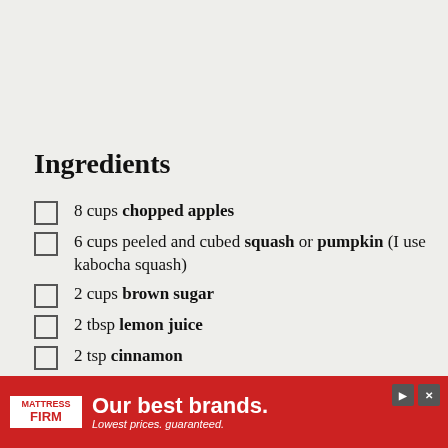Ingredients
8 cups chopped apples
6 cups peeled and cubed squash or pumpkin (I use kabocha squash)
2 cups brown sugar
2 tbsp lemon juice
2 tsp cinnamon
3 tsp ground ginger
½ tsp allspice
¼ tsp ground nutmeg
1 (partially visible)
[Figure (other): Mattress Firm advertisement banner: red background, white text 'Our best brands.' with tagline 'Lowest prices. guaranteed.']